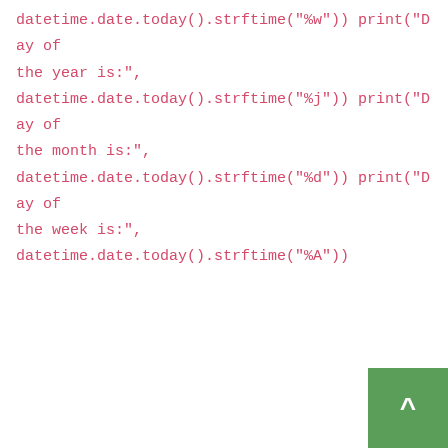datetime.date.today().strftime("%w")) print("Day of the year is:", datetime.date.today().strftime("%j")) print("Day of the month is:", datetime.date.today().strftime("%d")) print("Day of the week is:", datetime.date.today().strftime("%A"))